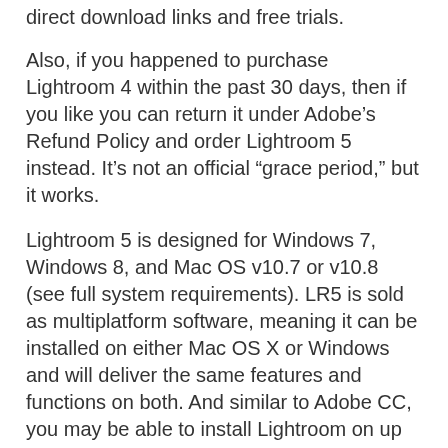direct download links and free trials.
Also, if you happened to purchase Lightroom 4 within the past 30 days, then if you like you can return it under Adobe’s Refund Policy and order Lightroom 5 instead. It’s not an official “grace period,” but it works.
Lightroom 5 is designed for Windows 7, Windows 8, and Mac OS v10.7 or v10.8 (see full system requirements). LR5 is sold as multiplatform software, meaning it can be installed on either Mac OS X or Windows and will deliver the same features and functions on both. And similar to Adobe CC, you may be able to install Lightroom on up to two computers, subject to the terms of the software license agreement.
< Not ready for the complete Creative Cloud? Get Photoshop + Lightroom for $10/month >